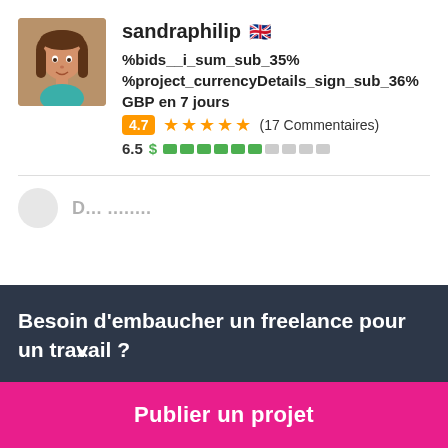sandraphilip 🇬🇧
%bids__i_sum_sub_35% %project_currencyDetails_sign_sub_36% GBP en 7 jours
4.7 ★★★★★ (17 Commentaires)
6.5 $ ▓▓▓▓▓▓░░░░
Besoin d'embaucher un freelance pour un travail ?
Publier un projet